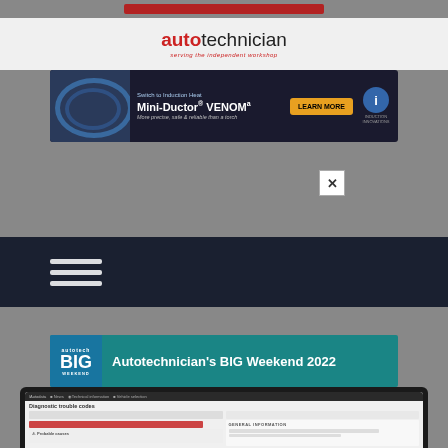autotechnician — serving the independent workshop
[Figure (screenshot): Mini-Ductor VENOM advertisement banner: Switch to Induction Heat, Mini-Ductor VENOM, More precise, safe & reliable than a torch, LEARN MORE button]
[Figure (screenshot): Close (X) button overlay on gray background]
[Figure (screenshot): Dark navy navigation bar with hamburger menu icon (three horizontal lines)]
[Figure (screenshot): Autotechnician's BIG Weekend 2022 banner in teal]
[Figure (screenshot): Autodata diagnostic trouble codes software screenshot showing interface with Diagnostic trouble codes heading, GENERAL INFORMATION section, and Probable causes panel]